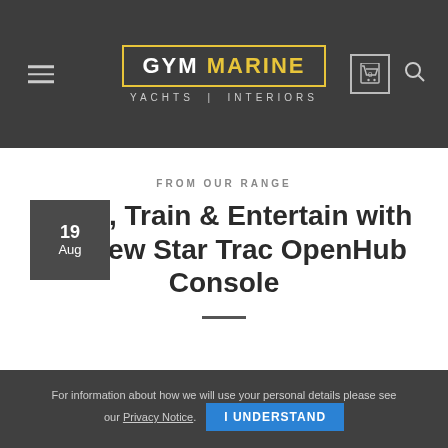GYM MARINE YACHTS | INTERIORS
FROM OUR RANGE
Track, Train & Entertain with the new Star Trac OpenHub Console
19 Aug
For information about how we will use your personal details please see our Privacy Notice. I UNDERSTAND